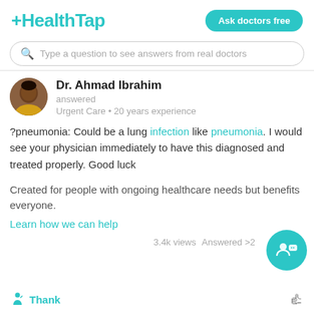[Figure (logo): HealthTap logo in teal with plus sign prefix]
[Figure (screenshot): Ask doctors free teal button]
[Figure (screenshot): Search bar: Type a question to see answers from real doctors]
[Figure (photo): Doctor avatar photo of Dr. Ahmad Ibrahim]
Dr. Ahmad Ibrahim
answered
Urgent Care • 20 years experience
?pneumonia: Could be a lung infection like pneumonia. I would see your physician immediately to have this diagnosed and treated properly. Good luck
Created for people with ongoing healthcare needs but benefits everyone.
Learn how we can help
3.4k views   Answered >2
Thank